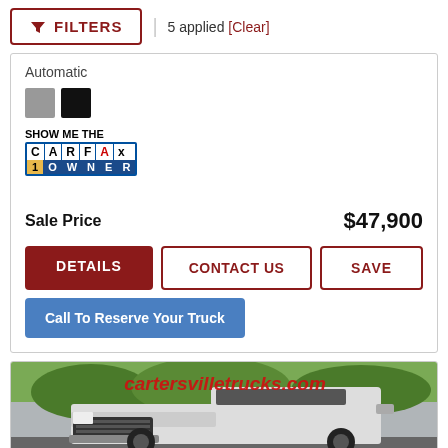FILTERS | 5 applied [Clear]
Automatic
[Figure (other): Carfax Show Me The Carfax 1 Owner badge]
Sale Price   $47,900
DETAILS | CONTACT US | SAVE
Call To Reserve Your Truck
[Figure (photo): Truck photo with cartersvilletrucks.com watermark showing front of white truck]